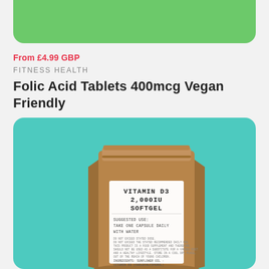[Figure (photo): Green rounded card/banner at the top of the page]
From £4.99 GBP
FITNESS HEALTH
Folic Acid Tablets 400mcg Vegan Friendly
[Figure (photo): Teal/mint green rounded card background containing a kraft paper pouch with a white label reading: VITAMIN D3 2,000IU SOFTGEL. Suggested use: Take one capsule daily with water. Small text below. Ingredients: Sunflower oil - Vitamin D3 (Cholecalciferol).]